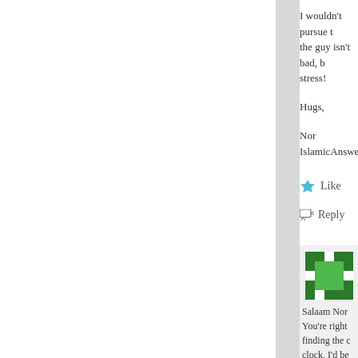I wouldn't pursue t... the guy isn't bad, b... stress!
Hugs,
Nor
IslamicAnswers
Like
Reply
[Figure (illustration): Green pixel/identicon avatar for a commenter]
Salaam Nor... You're right... finding the c... clock, I'd be... He instead ... be a good i... things work... Please keep...